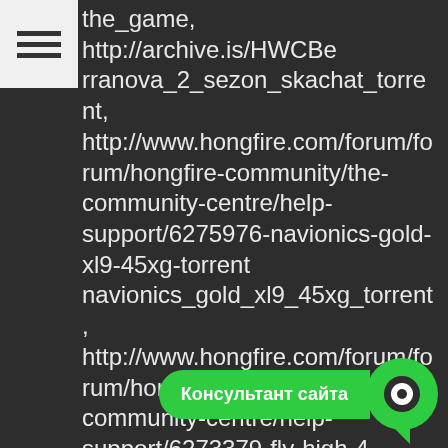the_game, http://archive.is/HWCBe rranova_2_sezon_skachat_torrent, http://www.hongfire.com/forum/forum/hongfire-community/the-community-centre/help-support/6275976-navionics-gold-xl9-45xg-torrent navionics_gold_xl9_45xg_torrent, http://www.hongfire.com/forum/forum/hongfire-community/the-community-centre/help-support/6273379-fly-high-4-activity-book-ответы-онлайн fly_high_4_activity_book_otvety_onlain, http://archive.is/CLJGL round-up_5_otvety_k_zadaniiam, http://archive.is/Rh4IR kaplan_gmat_verbal_workbook_pdf_torrent, http://archive.is/VKeLu skachat_revival_3_na_android, http://archive.is/y3BtV magix_music_maker_21_seriinyi_nomer, http://archive.is/3lW2s the_beatles_discography_bittorrent, http://archive.is/g3BxC
[Figure (other): Chat widget with green 'Консультант сайта' button and circular chat icon with white ring]